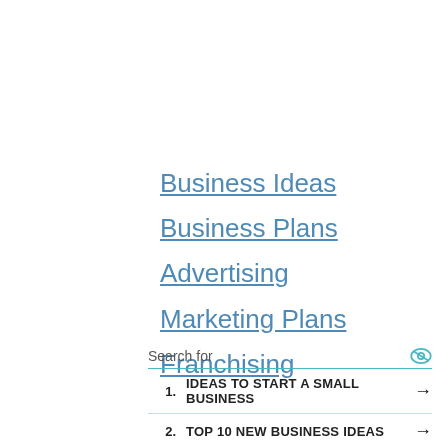Business Ideas
Business Plans
Advertising
Marketing Plans
Franchising
Search for
1. IDEAS TO START A SMALL BUSINESS →
2. TOP 10 NEW BUSINESS IDEAS →